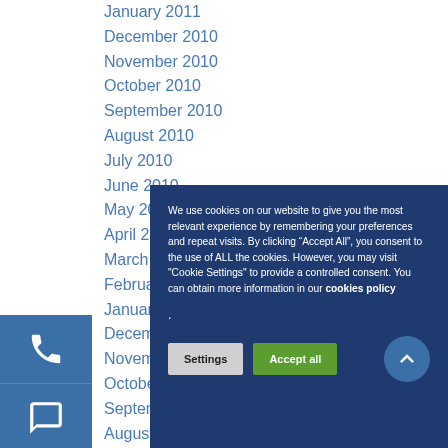January 2011
December 2010
November 2010
October 2010
September 2010
August 2010
July 2010
June 2010
May 2010
April 2010
March 2010
February 2010
January 2010
December 200...
November 200...
October 2009
September 200...
August 2009
July 2009
June 2009
April 2009
January 2009
December 200...
November 2008
October 200...
We use cookies on our website to give you the most relevant experience by remembering your preferences and repeat visits. By clicking “Accept All”, you consent to the use of ALL the cookies. However, you may visit "Cookie Settings" to provide a controlled consent. You can obtain more information in our cookies policy .
Settings | Accept all